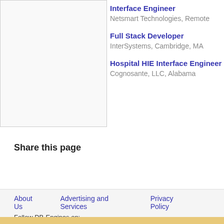Interface Engineer
Netsmart Technologies, Remote
Full Stack Developer
InterSystems, Cambridge, MA
Hospital HIE Interface Engineer
Cognosante, LLC, Alabama
Share this page
About Us   Advertising and Services   Privacy Policy
Follow DB-Engines on: